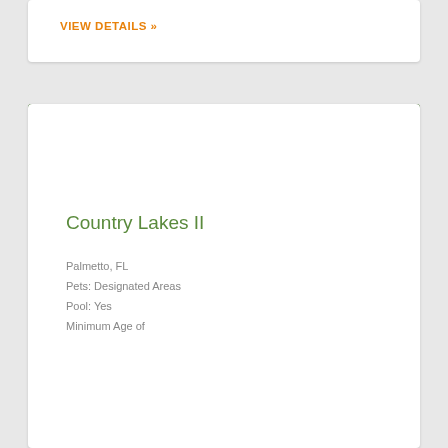VIEW DETAILS »
[Figure (photo): Entrance sign for Country Lakes II Village community, showing a yellow rectangular sign with dark blue text reading 'Country Lakes II VILLAGE', alongside a circular logo with flamingo imagery, mounted on a white wall with lush green foliage in background]
Country Lakes II
Palmetto, FL
Pets: Designated Areas
Pool: Yes
Minimum Age of